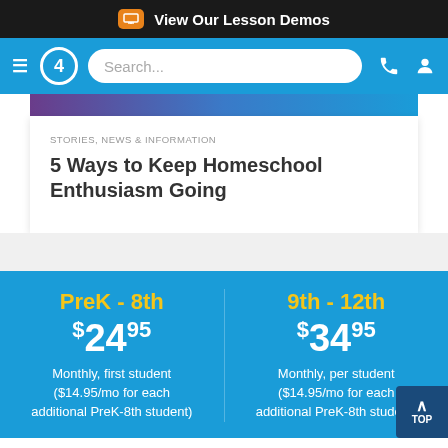View Our Lesson Demos
[Figure (screenshot): Blue navigation bar with hamburger menu, logo '4', search bar, phone icon, and user icon]
[Figure (photo): Partial image strip showing colorful background]
STORIES, NEWS & INFORMATION
5 Ways to Keep Homeschool Enthusiasm Going
PreK - 8th
$24.95
Monthly, first student ($14.95/mo for each additional PreK-8th student)
9th - 12th
$34.95
Monthly, per student ($14.95/mo for each additional PreK-8th student)